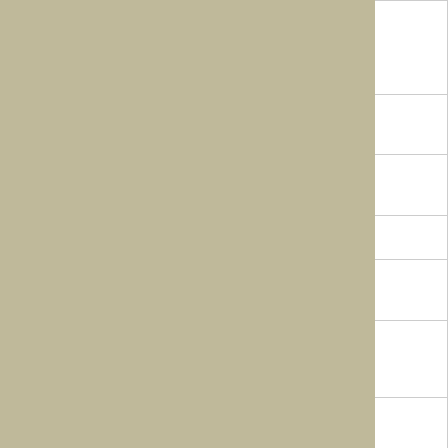|  | Artist | Songs |
| --- | --- | --- |
|  | Prairie Ramblers with Patsy Montana | I'm A W... Reckl... Cowb... A Ban... Knee |
|  | Collins & Harlan | Every... Doing... Darkto... |
|  | Oscar Peterson | Name... How H... Moon... |
|  | Pryor's Orchestra | The B... The B... |
|  | Francis Craig | Might... Rose ... Forgiv... |
|  | Dick McIntire's Harmony Hawaiians | I Wan... To Sp... Hawa... Island... |
|  | Beale St. Boys | Lights... Raisin... Roof ... |
|  | Cantor Josef Rosenblatt | Kol Ni... (Praye... Of Ato... Eli, El... |
|  | Josef Rosenblatt | Shir H... (Song... |